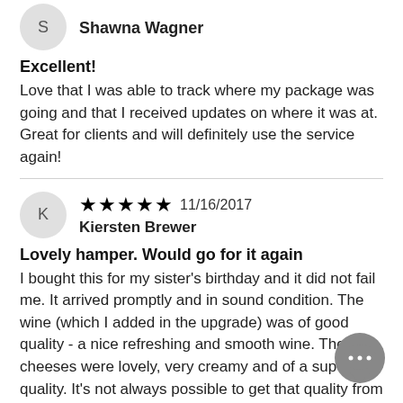S — Shawna Wagner (avatar with initial S)
Excellent!
Love that I was able to track where my package was going and that I received updates on where it was at. Great for clients and will definitely use the service again!
K — ★★★★★ 11/16/2017 Kiersten Brewer
Lovely hamper. Would go for it again
I bought this for my sister's birthday and it did not fail me. It arrived promptly and in sound condition. The wine (which I added in the upgrade) was of good quality - a nice refreshing and smooth wine. The cheeses were lovely, very creamy and of a superior quality. It's not always possible to get that quality from a store. The biscuits were lovely and the